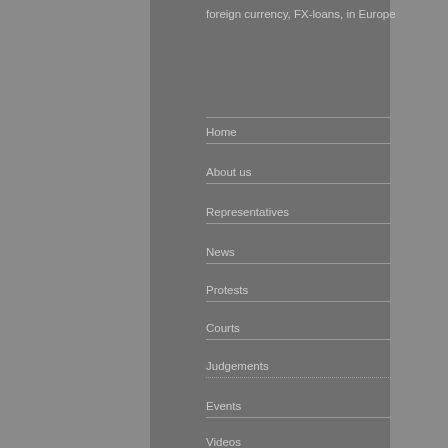foreign currency, FX-loans, in Europe
Home
About us
Representatives
News
Protests
Courts
Judgements
Events
Videos
Contact
FX LOANS IN YOUR MAIL!